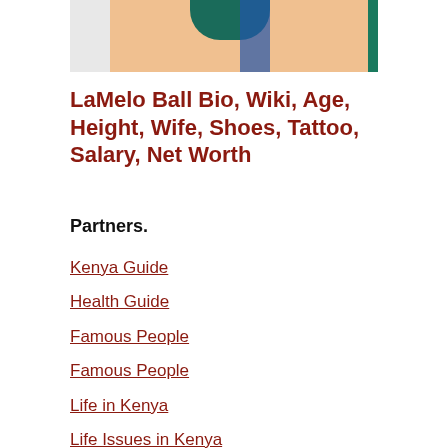[Figure (photo): Partial cropped photo showing top portion of a person with teal/green head covering and skin-tone face area, blue stripe accent]
LaMelo Ball Bio, Wiki, Age, Height, Wife, Shoes, Tattoo, Salary, Net Worth
Partners.
Kenya Guide
Health Guide
Famous People
Famous People
Life in Kenya
Life Issues in Kenya
Catholic Daily Readings